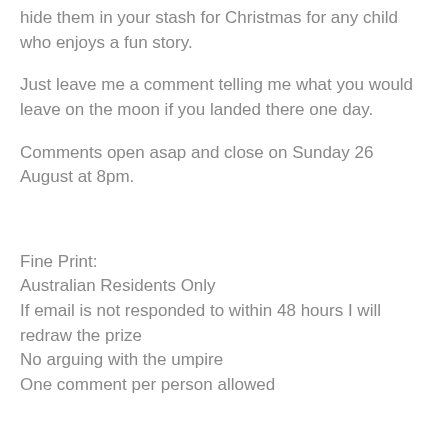hide them in your stash for Christmas for any child who enjoys a fun story.
Just leave me a comment telling me what you would leave on the moon if you landed there one day.
Comments open asap and close on Sunday 26 August at 8pm.
Fine Print:
Australian Residents Only
If email is not responded to within 48 hours I will redraw the prize
No arguing with the umpire
One comment per person allowed
Edited: 28 August